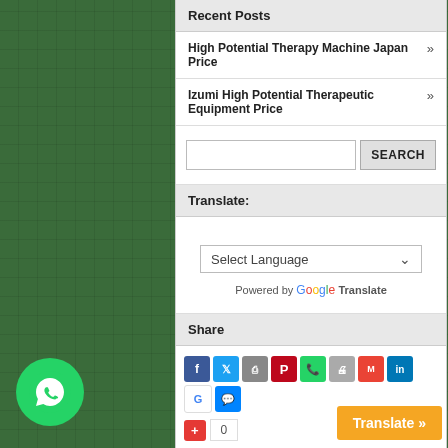Recent Posts
High Potential Therapy Machine Japan Price »
Izumi High Potential Therapeutic Equipment Price »
[Figure (screenshot): Search bar with SEARCH button]
Translate:
[Figure (screenshot): Google Translate widget with Select Language dropdown and Powered by Google Translate text]
Share
[Figure (infographic): Social sharing icons row: Facebook, Twitter, Print, Pinterest, WhatsApp, Print, Gmail, LinkedIn, Google, Messenger, plus a +1 counter button showing 0]
[Figure (logo): WhatsApp green bubble logo in bottom left]
Translate »